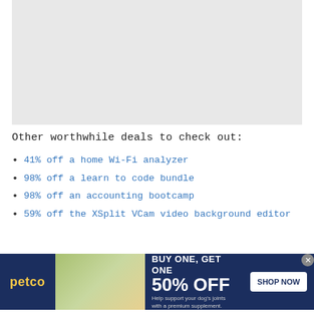[Figure (other): Gray placeholder rectangle for an image or embedded content]
Other worthwhile deals to check out:
41% off a home Wi-Fi analyzer
98% off a learn to code bundle
98% off an accounting bootcamp
59% off the XSplit VCam video background editor
Cover image and screenshots by Delani Clatfelter/Gadget Hacks
[Figure (other): Petco advertisement banner: BUY ONE, GET ONE 50% OFF - Help support your dog's joints with a premium supplement. SHOP NOW button. Features image of woman with dog and supplement bottles.]